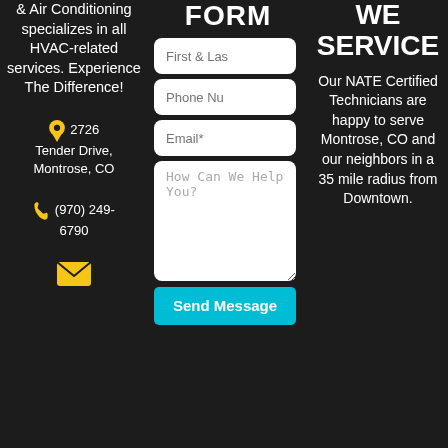& Air Conditioning specializes in all HVAC-related services. Experience The Difference!
2726 Tender Drive, Montrose, CO
(970) 249-6790
[Figure (illustration): Yellow envelope icon]
FORM
First & Las
Phone Nu
Email*
How Can We Help You?
Send Message
WE SERVICE
Our NATE Certified Technicians are happy to serve Montrose, CO and our neighbors in a 35 mile radius from Downtown.